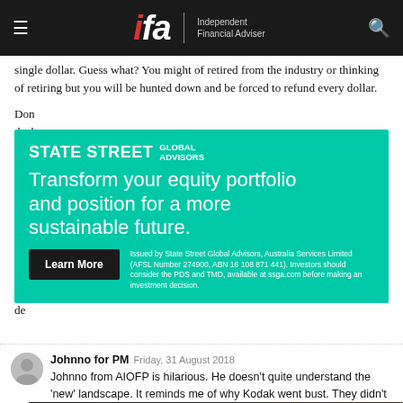ifa — Independent Financial Adviser
single dollar. Guess what? You might of retired from the industry or thinking of retiring but you will be hunted down and be forced to refund every dollar.
Don't think that hiding behind a dealer group will help you.
The regulator will chase you whether you are in the industry or not. Get used to it.
You... It's now a de...
[Figure (advertisement): State Street Global Advisors advertisement on teal/green background. Headline: Transform your equity portfolio and position for a more sustainable future. Learn More button. Disclaimer text: Issued by State Street Global Advisors, Australia Services Limited (AFSL Number 274900, ABN 16 108 671 441). Investors should consider the PDS and TMD, available at ssga.com before making an investment decision.]
Johnno for PM Friday, 31 August 2018
Johnno from AIOFP is hilarious. He doesn't quite understand the 'new' landscape. It reminds me of why Kodak went bust. They didn't adapt quickly enough.
2 Quote Reply
[Figure (advertisement): Intermede Investment Partners advertisement. Dark background with golden diagonal shape. Text: Invest with insight. Intermede Investment Partners logo on right.]
Trying to disguise your lefty industry fund leanings using sarcasm isn't working you troll. I applaud what AIOFP is